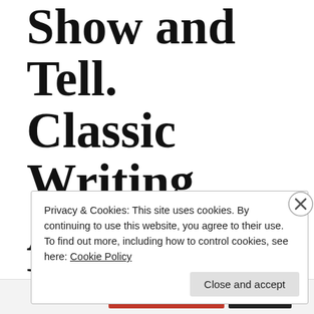Show and Tell. Classic Writing Advice Explained With Strippers
Privacy & Cookies: This site uses cookies. By continuing to use this website, you agree to their use.
To find out more, including how to control cookies, see here: Cookie Policy